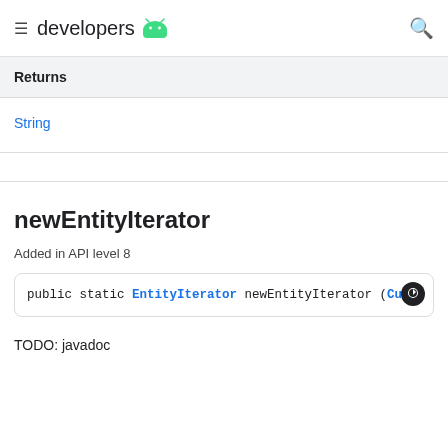developers
Returns
String
newEntityIterator
Added in API level 8
public static EntityIterator newEntityIterator (Curs
TODO: javadoc